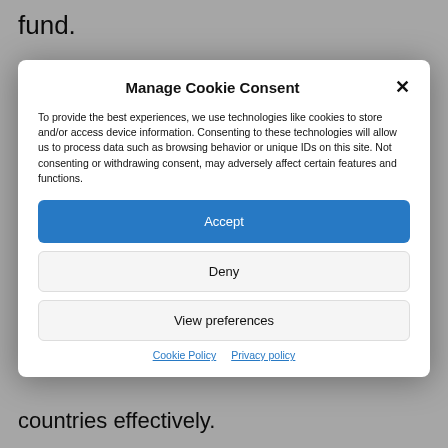fund.
Manage Cookie Consent
To provide the best experiences, we use technologies like cookies to store and/or access device information. Consenting to these technologies will allow us to process data such as browsing behavior or unique IDs on this site. Not consenting or withdrawing consent, may adversely affect certain features and functions.
Accept
Deny
View preferences
Cookie Policy  Privacy policy
countries effectively.